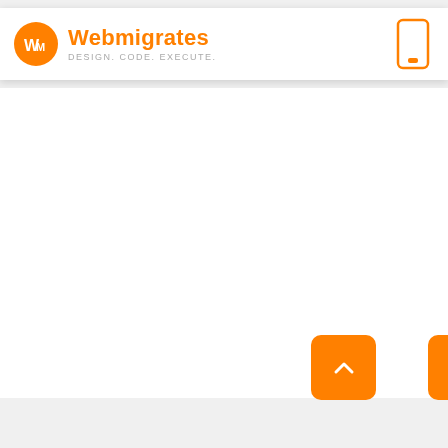Webmigrates — DESIGN. CODE. EXECUTE.
[Figure (logo): Webmigrates logo with orange circle containing WM letters, orange bold text Webmigrates, subtitle DESIGN. CODE. EXECUTE. in grey, and a smartphone outline icon on the right side of the header]
[Figure (other): Orange rounded square button with white upward chevron arrow, partially visible second orange button at far right edge]